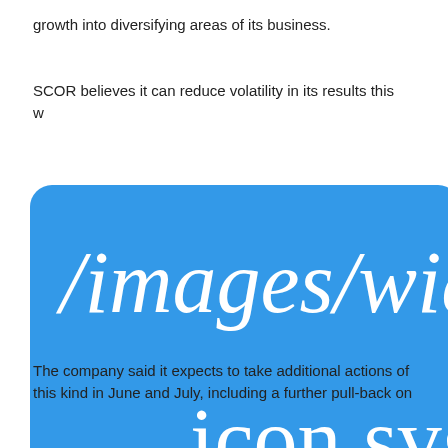growth into diversifying areas of its business.
SCOR believes it can reduce volatility in its results this wa
[Figure (other): Broken image placeholder showing path /images/wid icon.svg on blue rounded rectangle background]
g
The company said it expects to take additional actions of this kind in June and July, including a further pull-back on